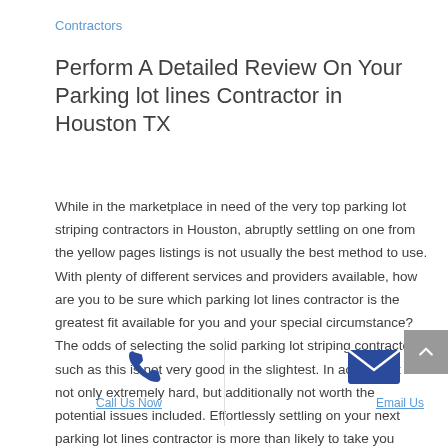Contractors
Perform A Detailed Review On Your Parking lot lines Contractor in Houston TX
While in the marketplace in need of the very top parking lot striping contractors in Houston, abruptly settling on one from the yellow pages listings is not usually the best method to use. With plenty of different services and providers available, how are you to be sure which parking lot lines contractor is the greatest fit available for you and your special circumstance? The odds of selecting the solid parking lot striping contractor such as this is not very good in the slightest. In actuality, it is not only extremely hard, but additionally not worth the potential issues included. Effortlessly settling on your next parking lot lines contractor is more than likely to take you through tons of undesirable experiences before you get hold of